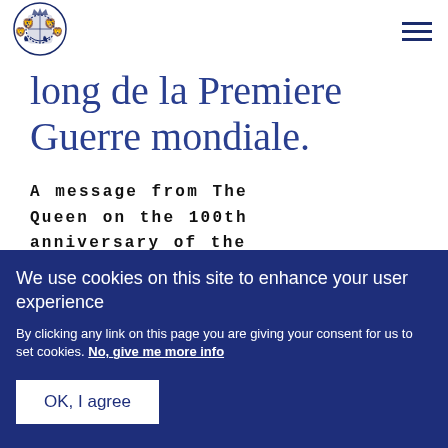[Figure (logo): Royal coat of arms / royal crest logo in dark blue]
long de la Premiere Guerre mondiale.
A message from The Queen on the 100th anniversary of the battle of Vimy Ridge
We use cookies on this site to enhance your user experience
By clicking any link on this page you are giving your consent for us to set cookies. No, give me more info
OK, I agree